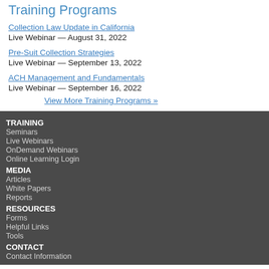Training Programs
Collection Law Update in California
Live Webinar — August 31, 2022
Pre-Suit Collection Strategies
Live Webinar — September 13, 2022
ACH Management and Fundamentals
Live Webinar — September 16, 2022
View More Training Programs »
TRAINING
Seminars
Live Webinars
OnDemand Webinars
Online Learning Login
MEDIA
Articles
White Papers
Reports
RESOURCES
Forms
Helpful Links
Tools
CONTACT
Contact Information